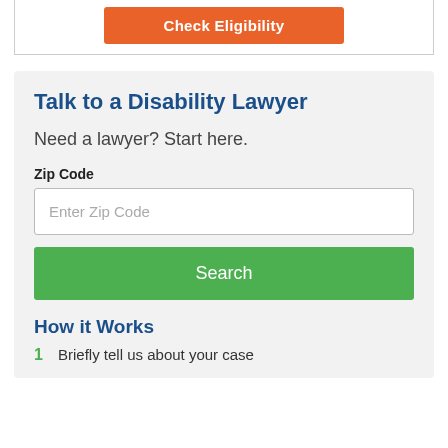[Figure (screenshot): Orange 'Check Eligibility' button inside a white bordered box]
Talk to a Disability Lawyer
Need a lawyer? Start here.
Zip Code
Enter Zip Code
Search
How it Works
Briefly tell us about your case